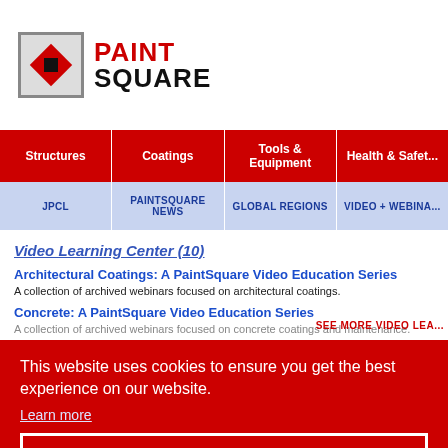[Figure (logo): PaintSquare logo with red diamond icon and bold text PAINT SQUARE]
Structures | Coatings | Tools & Equipment | Health & Safety
JPCL | PAINTSQUARE NEWS | GLOBAL REGIONS | VIDEO + WEBINARS
Video Learning Center (10)
Architectural Coatings: A PaintSquare Video Education Series
A collection of archived webinars focused on architectural coatings.
Concrete: A PaintSquare Video Education Series
A collection of archived webinars focused on concrete coatings and maintenance.
SEE MORE VIDEO LEA...
This website uses cookies to ensure you get the best experience on our website.
Learn more
Got it!
Includes white papers, product videos, and other archived documents posted on thirdparty companies; inclusion and posting on this site does not imply an endorsement of the content by Technology Publishing/PaintSquare. No signing in or downloading is required to make your name and full contact information available to the sponsor of the content.